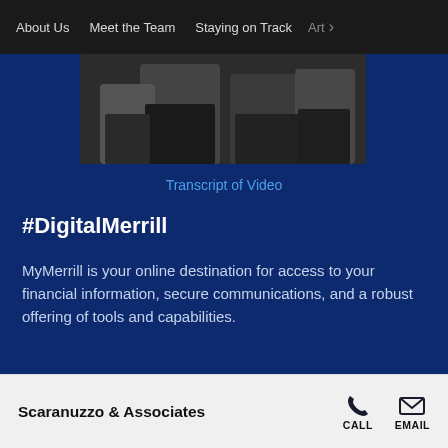About Us    Meet the Team    Staying on Track    Art >
[Figure (photo): Partial photo of people in formal attire, cropped at top]
Transcript of Video
#DigitalMerrill
MyMerrill is your online destination for access to your financial information, secure communications, and a robust offering of tools and capabilities.
Your advisor is a click away within our site or mobile apps
Scaranuzzo & Associates    CALL    EMAIL